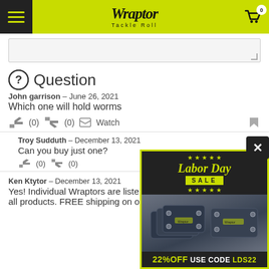Wraptor Tackle Roll — navigation header
[Figure (screenshot): Empty text area input box with resize handle]
Question
John garrison – June 26, 2021
Which one will hold worms
(0) (0) Watch — vote and watch controls, flag icon
Troy Sudduth – December 13, 2021
Can you buy just one?
(0) (0)
Ken Ktytor – December 13, 2021
Yes! Individual Wraptors are listed among all products. FREE shipping on orders over $75. The Big
[Figure (infographic): Labor Day Sale advertisement popup showing 22% OFF with code LDS22 and image of Wraptor tackle roll products]